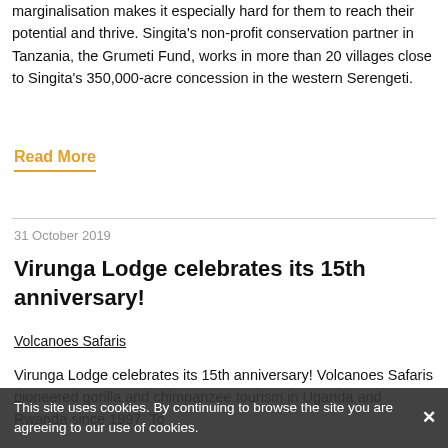marginalisation makes it especially hard for them to reach their potential and thrive. Singita's non-profit conservation partner in Tanzania, the Grumeti Fund, works in more than 20 villages close to Singita's 350,000-acre concession in the western Serengeti.
Read More
31 October 2019
Virunga Lodge celebrates its 15th anniversary!
Volcanoes Safaris
Virunga Lodge celebrates its 15th anniversary! Volcanoes Safaris pioneered gorilla and chimpanzee tourism in Uganda and Rwanda since 1997. To
This site uses cookies. By continuing to browse the site you are agreeing to our use of cookies.